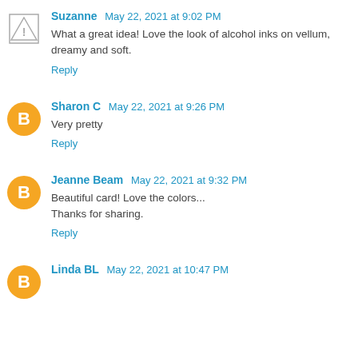Suzanne May 22, 2021 at 9:02 PM
What a great idea! Love the look of alcohol inks on vellum, dreamy and soft.
Reply
Sharon C May 22, 2021 at 9:26 PM
Very pretty
Reply
Jeanne Beam May 22, 2021 at 9:32 PM
Beautiful card! Love the colors...
Thanks for sharing.
Reply
Linda BL May 22, 2021 at 10:47 PM